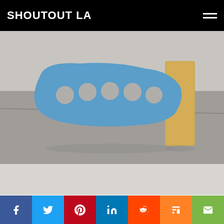SHOUTOUT LA
[Figure (photo): Gallery sculpture photo 1: blue perforated sculptural piece with wooden board on gray concrete floor]
[Figure (photo): Gallery sculpture photo 2: large gray organic-form sculpture supported by cinder blocks, with colorful stacked elements, on concrete floor]
Social share bar: Facebook, Twitter, Pinterest, LinkedIn, Reddit, Mix, Email